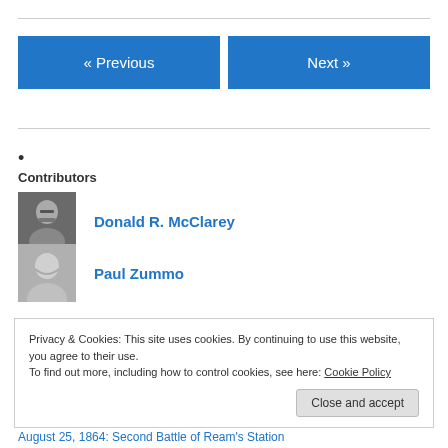•
Contributors
Donald R. McClarey
Paul Zummo
Privacy & Cookies: This site uses cookies. By continuing to use this website, you agree to their use.
To find out more, including how to control cookies, see here: Cookie Policy
August 25, 1864: Second Battle of Ream's Station